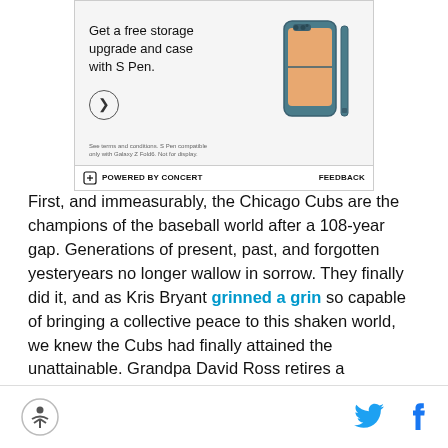[Figure (screenshot): Samsung Galaxy Z Fold advertisement: 'Get a free storage upgrade and case with S Pen.' with phone image and arrow button. Footer reads 'POWERED BY CONCERT' and 'FEEDBACK'.]
First, and immeasurably, the Chicago Cubs are the champions of the baseball world after a 108-year gap. Generations of present, past, and forgotten yesteryears no longer wallow in sorrow. They finally did it, and as Kris Bryant grinned a grin so capable of bringing a collective peace to this shaken world, we knew the Cubs had finally attained the unattainable. Grandpa David Ross retires a champion. Joe Maddon
footer with accessibility logo and social media icons